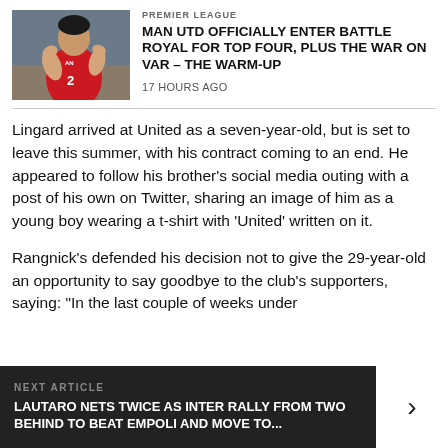[Figure (photo): A Manchester United player in a red jersey, number 2, gesturing with hands]
PREMIER LEAGUE
MAN UTD OFFICIALLY ENTER BATTLE ROYAL FOR TOP FOUR, PLUS THE WAR ON VAR – THE WARM-UP
17 HOURS AGO
Lingard arrived at United as a seven-year-old, but is set to leave this summer, with his contract coming to an end. He appeared to follow his brother's social media outing with a post of his own on Twitter, sharing an image of him as a young boy wearing a t-shirt with 'United' written on it.
Rangnick's defended his decision not to give the 29-year-old an opportunity to say goodbye to the club's supporters, saying: "In the last couple of weeks under
NEXT ARTICLE
LAUTARO NETS TWICE AS INTER RALLY FROM TWO BEHIND TO BEAT EMPOLI AND MOVE TO...